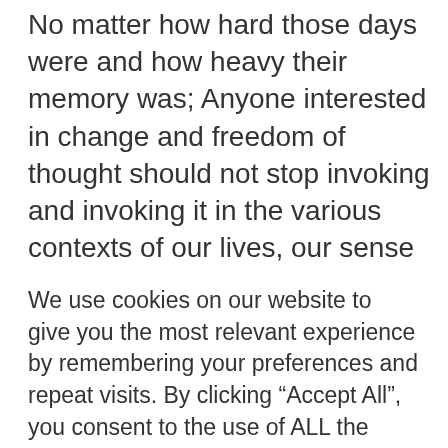No matter how hard those days were and how heavy their memory was; Anyone interested in change and freedom of thought should not stop invoking and invoking it in the various contexts of our lives, our sense of the pleasure of happiness that we experience today under regulation, laws and freedoms , and empowerment was as much as the opposite feeling we felt in the waking years, and no righteous person will deny
We use cookies on our website to give you the most relevant experience by remembering your preferences and repeat visits. By clicking “Accept All”, you consent to the use of ALL the cookies. However, you may visit "Cookie Settings" to provide a controlled consent.